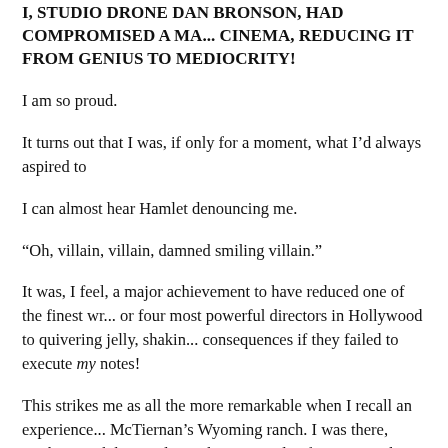I, STUDIO DRONE DAN BRONSON, HAD COMPROMISED A MA... CINEMA, REDUCING IT FROM GENIUS TO MEDIOCRITY!
I am so proud.
It turns out that I was, if only for a moment, what I’d always aspired to
I can almost hear Hamlet denouncing me.
“Oh, villain, villain, damned smiling villain.”
It was, I feel, a major achievement to have reduced one of the finest wr... or four most powerful directors in Hollywood to quivering jelly, shakin... consequences if they failed to execute my notes!
This strikes me as all the more remarkable when I recall an experience... McTiernan’s Wyoming ranch. I was there, working with him and Jonath... screenplay for Die Hard: With a Vengeance.